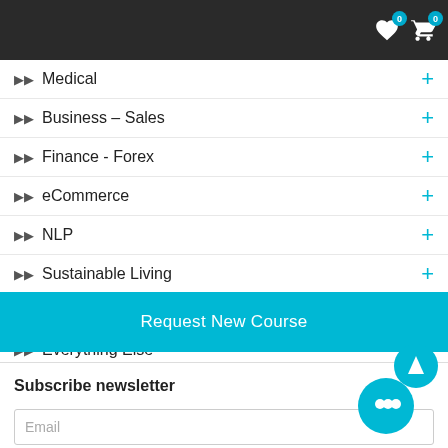Navigation bar with wish list (0) and cart (0) icons
Medical
Business – Sales
Finance - Forex
eCommerce
NLP
Sustainable Living
Real Estate - Landscape
Everything Else
Request New Course
Subscribe newsletter
Email
Name